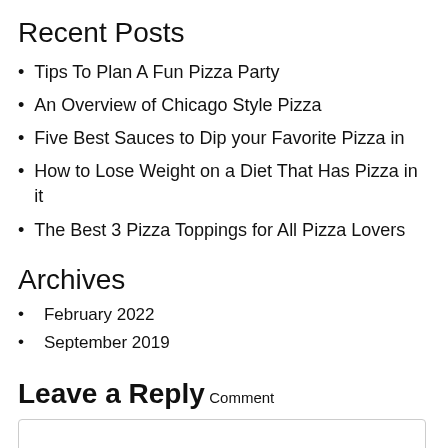Recent Posts
Tips To Plan A Fun Pizza Party
An Overview of Chicago Style Pizza
Five Best Sauces to Dip your Favorite Pizza in
How to Lose Weight on a Diet That Has Pizza in it
The Best 3 Pizza Toppings for All Pizza Lovers
Archives
February 2022
September 2019
Leave a Reply
Comment